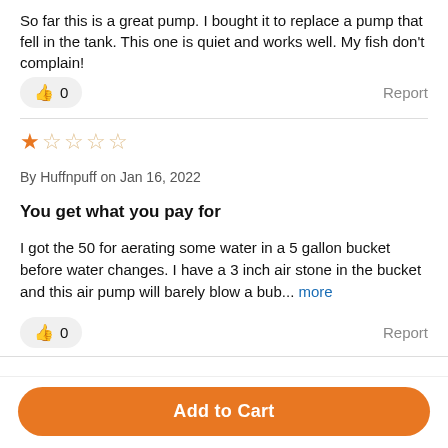So far this is a great pump. I bought it to replace a pump that fell in the tank. This one is quiet and works well. My fish don't complain!
👍 0   Report
[Figure (other): 1 out of 5 stars rating (one filled star, four empty stars)]
By Huffnpuff on Jan 16, 2022
You get what you pay for
I got the 50 for aerating some water in a 5 gallon bucket before water changes. I have a 3 inch air stone in the bucket and this air pump will barely blow a bub... more
👍 0   Report
Add to Cart